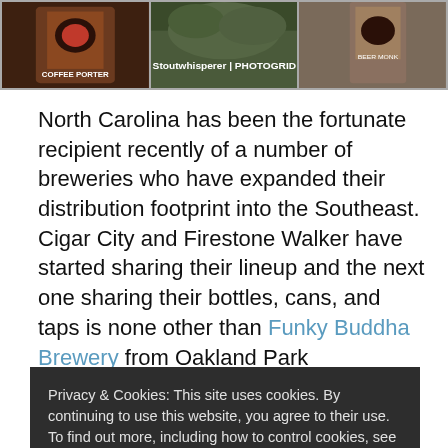[Figure (photo): Three photo strip showing coffee beer bottle, pine/plant, and beer bottle with watermark text 'Stoutwhisperer | PHOTOGRID']
North Carolina has been the fortunate recipient recently of a number of breweries who have expanded their distribution footprint into the Southeast.  Cigar City and Firestone Walker have started sharing their lineup and the next one sharing their bottles, cans, and taps is none other than Funky Buddha Brewery from Oakland Park
Privacy & Cookies: This site uses cookies. By continuing to use this website, you agree to their use. To find out more, including how to control cookies, see here: Cookie Policy

Close and accept
Morning Wood